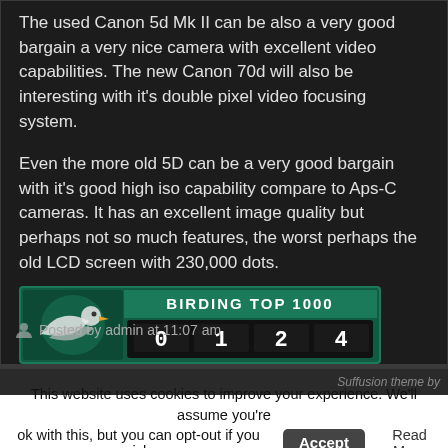The used Canon 5d Mk II can be also a very good bargain a very nice camera with excellent video capabilities. The new Canon 70d will also be interesting with it's double pixel video focusing system.
Even the more old 5D can be a very good bargain with it's good high iso capability compare to Aps-C cameras. It has an excellent image quality but perhaps not so much features, the worst perhaps the old LCD screen with 230,000 dots.
[Figure (logo): Birding Top 1000 badge showing counter 0124 with a bird logo on the left]
Posted by admin at 11:07 am
Suffusion theme by
This website uses cookies to improve your experience. We'll assume you're ok with this, but you can opt-out if you wish. Accept Read More